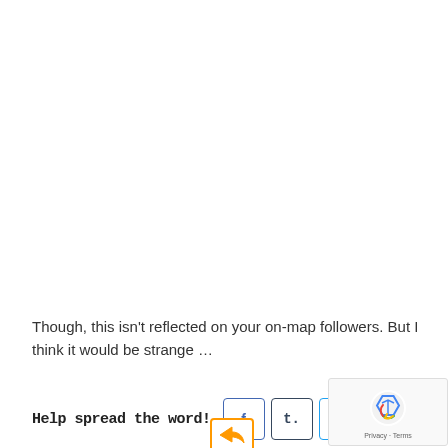Though, this isn't reflected on your on-map followers. But I think it would be strange …
Help spread the word!
[Figure (other): Social share buttons: Facebook (f), Tumblr (t.), Twitter bird icon, LinkedIn (in)]
[Figure (other): reCAPTCHA badge with Privacy and Terms links]